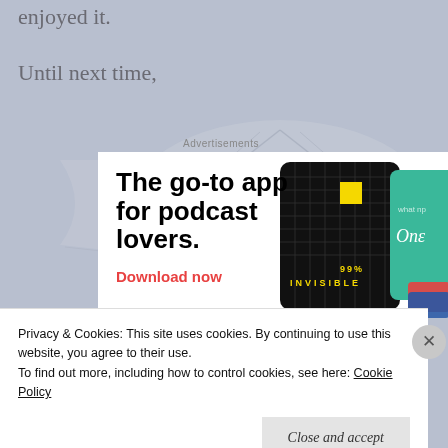enjoyed it.
Until next time,
[Figure (infographic): Advertisement for a podcast app. Shows bold headline 'The go-to app for podcast lovers.' with a red 'Download now' CTA link. Visual shows app cards including one for '99% Invisible' podcast on a black grid background and a teal card.]
Privacy & Cookies: This site uses cookies. By continuing to use this website, you agree to their use.
To find out more, including how to control cookies, see here: Cookie Policy
Close and accept